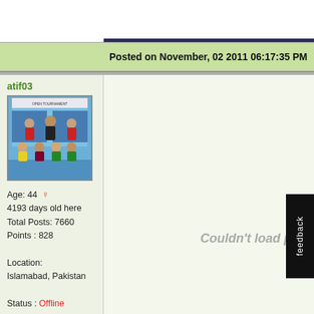Posted on November, 02 2011 06:17:35 PM
atif03
[Figure (photo): Group photo of a futsal/badminton team posing in front of an 'Open Tournament' banner in a sports hall]
Age: 44
4193 days old here
Total Posts: 7660
Points : 828

Location:
Islamabad, Pakistan

Status : Offline
Couldn't load plugin